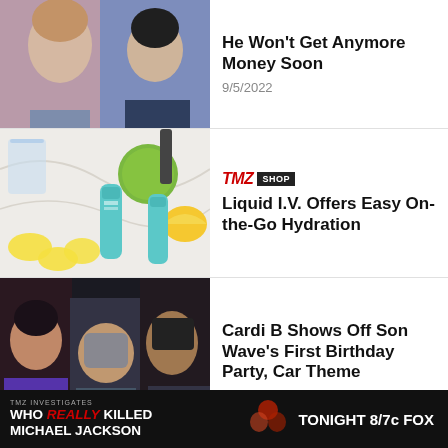[Figure (photo): Photo of Britney Spears and another person (celebrity portrait)]
He Won't Get Anymore Money Soon
9/5/2022
[Figure (photo): Product photo of Liquid I.V. hydration packets with citrus fruits and a glass of water]
TMZ SHOP
Liquid I.V. Offers Easy On-the-Go Hydration
[Figure (photo): Photo of Cardi B, her son Wave, and Offset]
Cardi B Shows Off Son Wave's First Birthday Party, Car Theme
[Figure (infographic): TMZ Investigates banner ad: WHO REALLY KILLED MICHAEL JACKSON — TONIGHT 8/7c FOX]